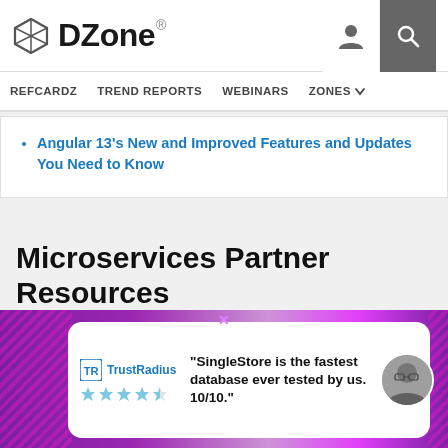DZone — REFCARDZ  TREND REPORTS  WEBINARS  ZONES
Angular 13's New and Improved Features and Updates You Need to Know
Microservices Partner Resources
Power your tech team's evolution
[Figure (other): Ad banner: TrustRadius logo with star rating and quote: "SingleStore is the fastest database ever tested by us. 10/10." on purple background with person portrait.]